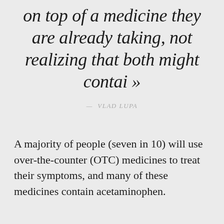on top of a medicine they are already taking, not realizing that both might contai »
— VLAD LUPA
A majority of people (seven in 10) will use over-the-counter (OTC) medicines to treat their symptoms, and many of these medicines contain acetaminophen.